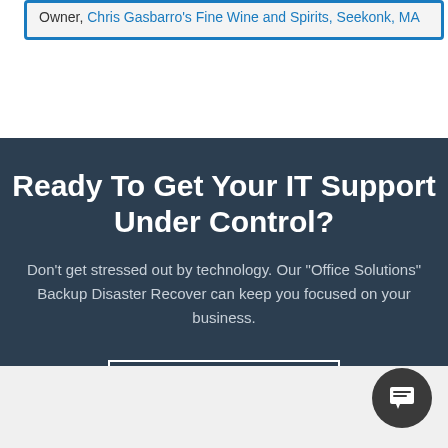Owner, Chris Gasbarro's Fine Wine and Spirits, Seekonk, MA
Ready To Get Your IT Support Under Control?
Don't get stressed out by technology. Our "Office Solutions" Backup Disaster Recover can keep you focused on your business.
Get Started